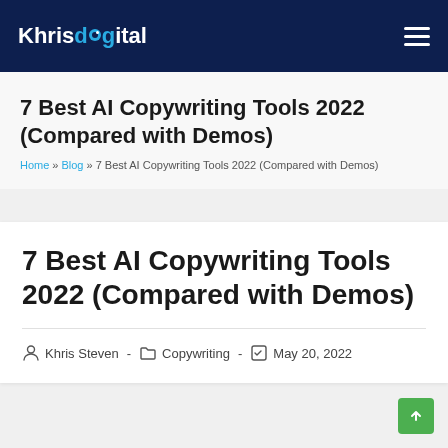KhrisDigital
7 Best AI Copywriting Tools 2022 (Compared with Demos)
Home » Blog » 7 Best AI Copywriting Tools 2022 (Compared with Demos)
7 Best AI Copywriting Tools 2022 (Compared with Demos)
Khris Steven - Copywriting - May 20, 2022